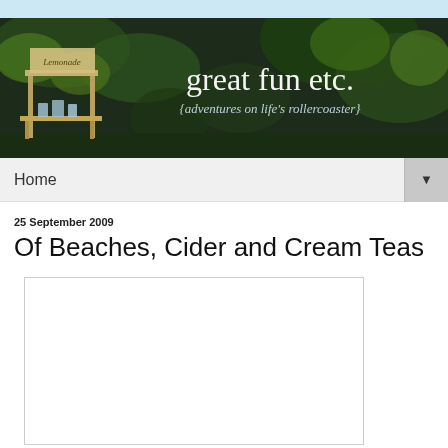[Figure (photo): Blog header banner with dark green/brown background showing a lemonade stand on the left and trees/greenery. Center text reads 'great fun etc.' with subtitle '{adventures on life's rollercoaster}']
Home ▼
25 September 2009
Of Beaches, Cider and Cream Teas
[Figure (photo): A photograph placeholder (white rectangle with border) within the blog post content]